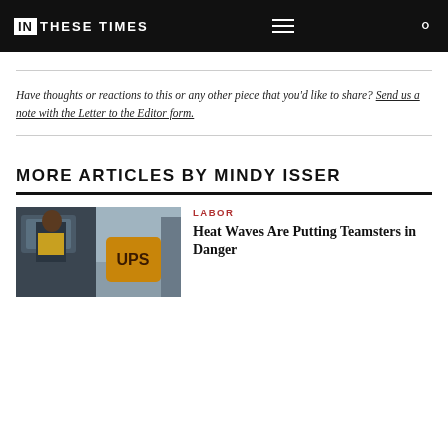IN THESE TIMES
Have thoughts or reactions to this or any other piece that you'd like to share? Send us a note with the Letter to the Editor form.
MORE ARTICLES BY MINDY ISSER
[Figure (photo): A UPS worker in a yellow safety vest sitting in a UPS delivery truck cab]
LABOR
Heat Waves Are Putting Teamsters in Danger